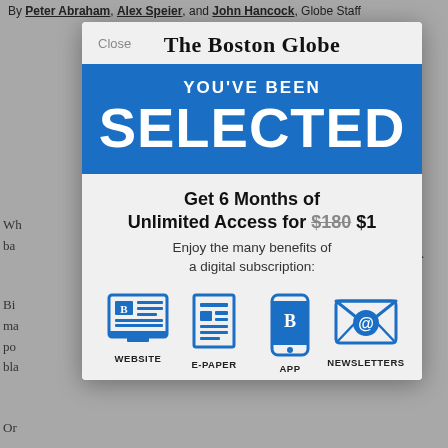By Peter Abraham, Alex Speier, and John Hancock, Globe Staff
[Figure (screenshot): Boston Globe subscription modal overlay showing 'YOU'VE BEEN SELECTED' promotion offering 6 months of unlimited access for $1 (regular price $180), with icons for Website, E-Paper, App, and Newsletters]
Wh... ba... . Bi... ma... po... bla... Or...